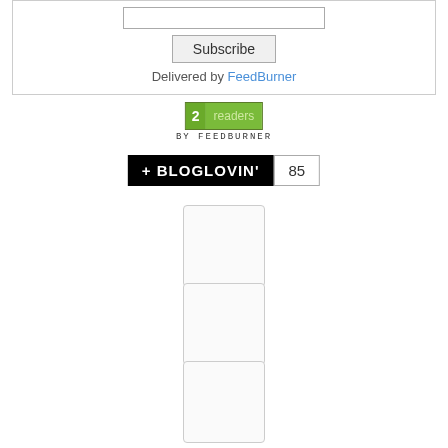[Figure (screenshot): Subscribe box with email input field, Subscribe button, and 'Delivered by FeedBurner' text]
[Figure (screenshot): FeedBurner badge showing 2 readers]
[Figure (screenshot): Bloglovin badge showing +BLOGLOVIN' and count 85]
[Figure (other): Empty placeholder box 1]
[Figure (other): Empty placeholder box 2]
[Figure (other): Empty placeholder box 3]
[Figure (other): Empty placeholder box 4]